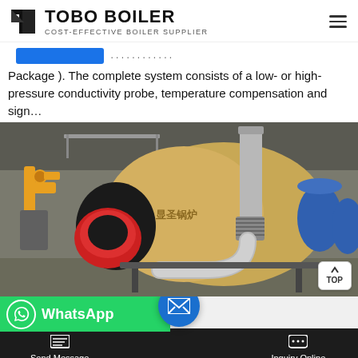TOBO BOILER — COST-EFFECTIVE BOILER SUPPLIER
Package ). The complete system consists of a low- or high-pressure conductivity probe, temperature compensation and sign…
[Figure (photo): Photo of an industrial gas-fired boiler in a boiler room. The boiler is cylindrical, gold/tan colored with a red burner assembly on the left. Large stainless steel pipes and expansion joints run from the boiler. Blue pressure tanks are visible on the right. Yellow gas lines are on the left. Chinese characters on the boiler body.]
WhatsApp
ent R
Send Message | Inquiry Online